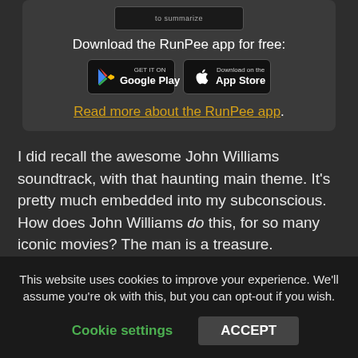[Figure (screenshot): Partial screenshot of RunPee app interface showing 'to summarize' text on a dark screen]
Download the RunPee app for free:
[Figure (logo): Google Play store button and Apple App Store button side by side]
Read more about the RunPee app.
I did recall the awesome John Williams soundtrack, with that haunting main theme. It's pretty much embedded into my subconscious. How does John Williams do this, for so many iconic movies? The man is a treasure.
This website uses cookies to improve your experience. We'll assume you're ok with this, but you can opt-out if you wish.
Cookie settings
ACCEPT